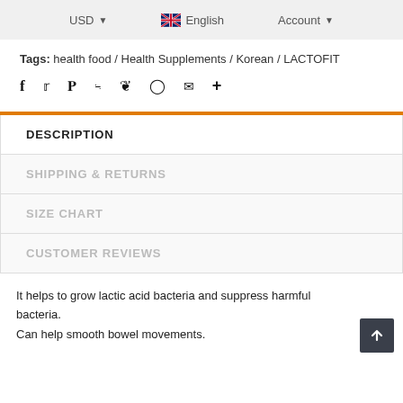USD  English  Account
Tags:  health food  /  Health Supplements  /  Korean  /  LACTOFIT
Social share icons: Facebook, Twitter, Pinterest, Grid, Bookmark, Circle, Email, Plus
DESCRIPTION
SHIPPING & RETURNS
SIZE CHART
CUSTOMER REVIEWS
It helps to grow lactic acid bacteria and suppress harmful bacteria. Can help smooth bowel movements.